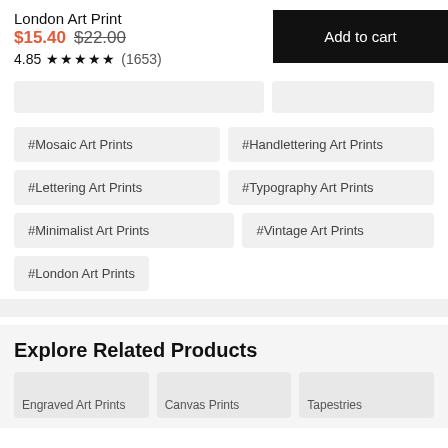London Art Print
$15.40 $22.00
4.85 ★★★★★ (1653)
Add to cart
#Mosaic Art Prints
#Handlettering Art Prints
#Lettering Art Prints
#Typography Art Prints
#Minimalist Art Prints
#Vintage Art Prints
#London Art Prints
Explore Related Products
Engraved Art Prints
Canvas Prints
Tapestries